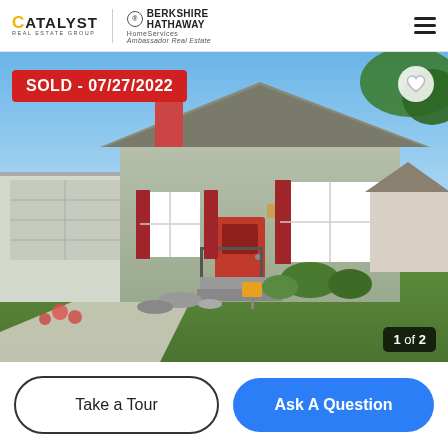CATALYST REAL ESTATE GROUP | BERKSHIRE HATHAWAY HomeServices Ambassador Real Estate
[Figure (photo): Exterior photo of a residential home with gray siding, red door and red shutters, attached garage, landscaped front yard with rocks and shrubs. A red SOLD badge reads SOLD - 07/27/2022. Image counter shows 1 of 2.]
Take a Tour
Ask A Question